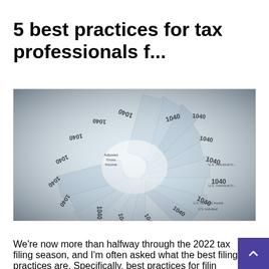5 best practices for tax professionals f...
[Figure (photo): Fan arrangement of multiple IRS Form 1040 U.S. Individual Income Tax Return documents spread out in a radial pattern, showing the '1040' label prominently on each form.]
We're now more than halfway through the 2022 tax filing season, and I'm often asked what the best filing practices are. Specifically, best practices for filing returns and dealing with the IRS and state and local tax authorities. The pandemic has created unique challenges for tax practitioners over recent to